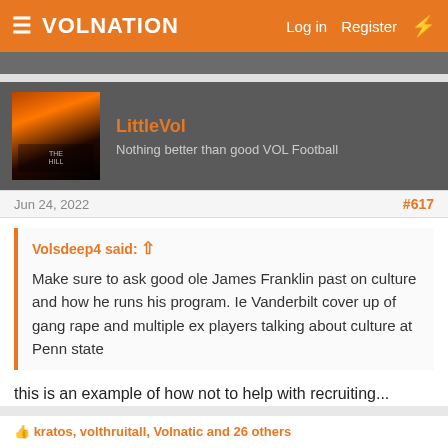VolNation — Log in  Register
LittleVol — Nothing better than good VOL Football
Jun 24, 2022   #617
Volsdeep4 said: Make sure to ask good ole James Franklin past on culture and how he runs his program. Ie Vanderbilt cover up of gang rape and multiple ex players talking about culture at Penn state
this is an example of how not to help with recruiting...
kratos, volthruitall, Volnatic and 26 others
Volsdeep4